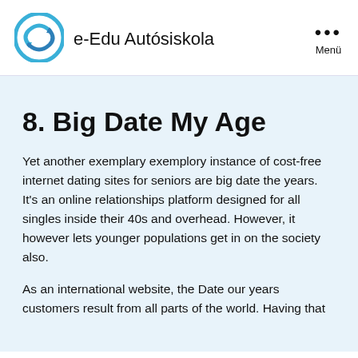[Figure (logo): e-Edu Autósiskola logo with circular blue arrow icon and site name text]
8. Big Date My Age
Yet another exemplary exemplory instance of cost-free internet dating sites for seniors are big date the years. It's an online relationships platform designed for all singles inside their 40s and overhead. However, it however lets younger populations get in on the society also.
As an international website, the Date our years customers result from all parts of the world. Having that